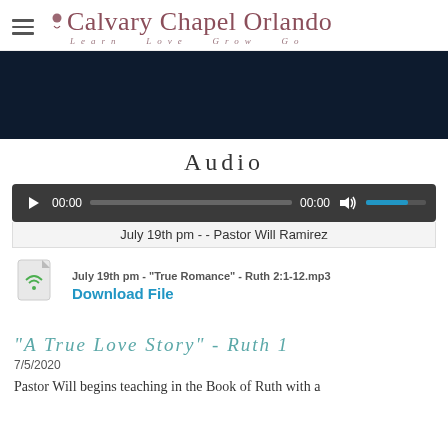Calvary Chapel Orlando — Learn Love Grow Go
[Figure (screenshot): Dark navy video placeholder panel]
Audio
[Figure (screenshot): Audio player with play button, 00:00 time, progress bar, 00:00 end time, volume icon and blue volume bar]
July 19th pm - - Pastor Will Ramirez
[Figure (screenshot): MP3 file icon with wifi signal symbol]
July 19th pm - "True Romance" - Ruth 2:1-12.mp3
Download File
"A True Love Story" - Ruth 1
7/5/2020
Pastor Will begins teaching in the Book of Ruth with a